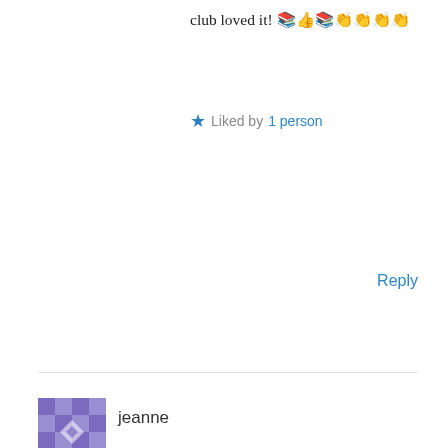club loved it! 📚👍📚👏👏👏👏
★ Liked by 1 person
Reply
jeanne
February 9, 2018 at 2:41 am
I have already read Beneath a Scarlet Sky and thoroughly enjoyed it..I think a 13 year old could handle it, there's no explicit sex or anything; tho there is one incredibly shocking scene that made me gasp. I'll participate in the book club discussion as well. Another wonderful book I just